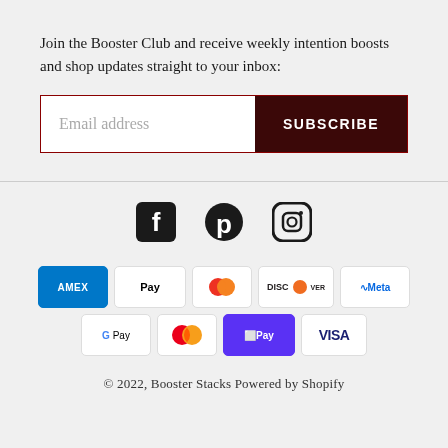Join the Booster Club and receive weekly intention boosts and shop updates straight to your inbox:
[Figure (screenshot): Email address input field with SUBSCRIBE button]
[Figure (infographic): Social media icons: Facebook, Pinterest, Instagram]
[Figure (infographic): Payment method icons: American Express, Apple Pay, Diners Club, Discover, Meta Pay, Google Pay, Mastercard, Shop Pay, Visa]
© 2022, Booster Stacks Powered by Shopify